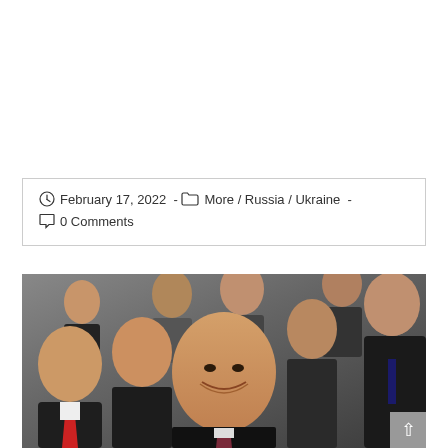February 17, 2022  -  More / Russia / Ukraine  -  0 Comments
[Figure (photo): Group photo of men in suits, central figure smiling broadly, a man with red tie visible on the left, others in dark suits surrounding the central figure]